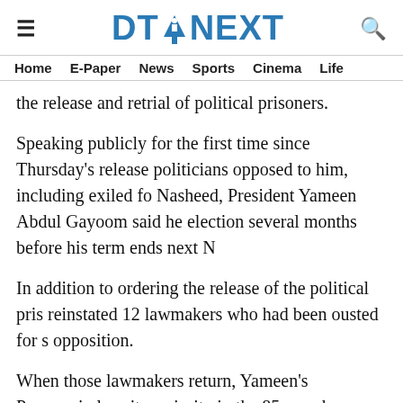DT NEXT
Home  E-Paper  News  Sports  Cinema  Life
the release and retrial of political prisoners.
Speaking publicly for the first time since Thursday's release politicians opposed to him, including exiled fo Nasheed, President Yameen Abdul Gayoom said he election several months before his term ends next N
In addition to ordering the release of the political pris reinstated 12 lawmakers who had been ousted for s opposition.
When those lawmakers return, Yameen's Progressiv lose its majority in the 85-member parliament, whic body functioning as a rival power to the president.